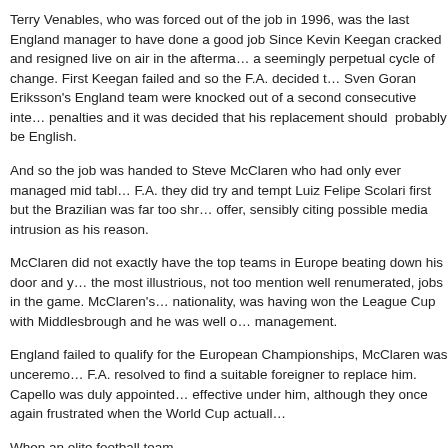Terry Venables, who was forced out of the job in 1996, was the last England manager to have done a good job Since Kevin Keegan cracked and resigned live on air in the aftermath its been a seemingly perpetual cycle of change. First Keegan failed and so the F.A. decided that Sven Goran Eriksson's England team were knocked out of a second consecutive international on penalties and it was decided that his replacement should  probably be English.
And so the job was handed to Steve McClaren who had only ever managed mid table clubs. The F.A. they did try and tempt Luiz Felipe Scolari first but the Brazilian was far too shrewd to accept the offer, sensibly citing possible media intrusion as his reason.
McClaren did not exactly have the top teams in Europe beating down his door and yet he was given one of the most illustrious, not too mention well renumerated, jobs in the game. McClaren's main qualification, aside from nationality, was having won the League Cup with Middlesbrough and he was well out of his depth in international management.
England failed to qualify for the European Championships, McClaren was unceremoniously sacked and the F.A. resolved to find a suitable foreigner to replace him. Capello was duly appointed and England were more effective under him, although they once again frustrated when the World Cup actually came around.
When an elite football team...
Article Source: Bleacher Report - International Football
Latest News
Former England Manager Graham Taylor Dies at Age 72
Bruce Arena Names USMNT January Camp Invitees